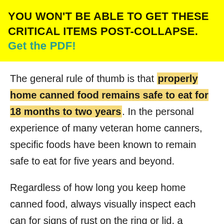YOU WON'T BE ABLE TO GET THESE CRITICAL ITEMS POST-COLLAPSE. Get the PDF!
The general rule of thumb is that properly home canned food remains safe to eat for 18 months to two years. In the personal experience of many veteran home canners, specific foods have been known to remain safe to eat for five years and beyond.
Regardless of how long you keep home canned food, always visually inspect each can for signs of rust on the ring or lid, a bubbled look and feel to the lid, and smell the food inside for any foul